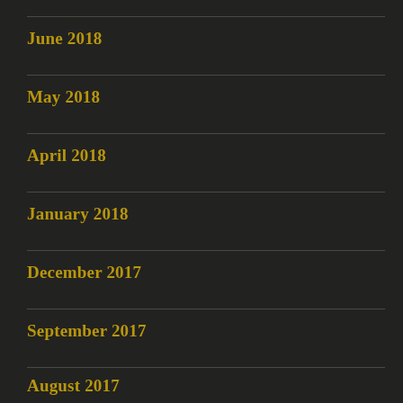June 2018
May 2018
April 2018
January 2018
December 2017
September 2017
August 2017
July 2017